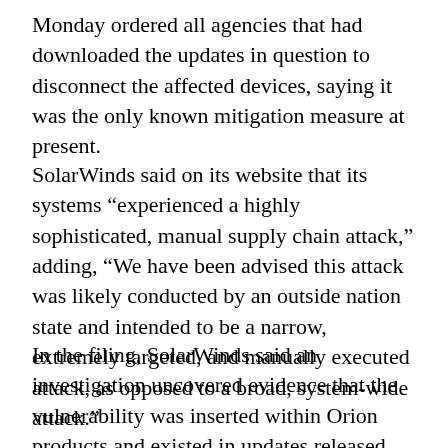Monday ordered all agencies that had downloaded the updates in question to disconnect the affected devices, saying it was the only known mitigation measure at present.
SolarWinds said on its website that its systems “experienced a highly sophisticated, manual supply chain attack,” adding, “We have been advised this attack was likely conducted by an outside nation state and intended to be a narrow, extremely targeted, and manually executed attack, as opposed to a broad, system-wide attack.”
In the filing, SolarWinds said an investigation uncovered evidence that the vulnerability was inserted within Orion products and existed in updates released between March and June.